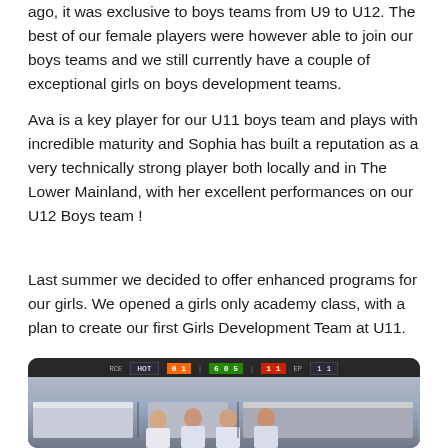ago, it was exclusive to boys teams from U9 to U12. The best of our female players were however able to join our boys teams and we still currently have a couple of exceptional girls on boys development teams.
Ava is a key player for our U11 boys team and plays with incredible maturity and Sophia has built a reputation as a very technically strong player both locally and in The Lower Mainland, with her excellent performances on our U12 Boys team !
Last summer we decided to offer enhanced programs for our girls. We opened a girls only academy class, with a plan to create our first Girls Development Team at U11.
[Figure (photo): Photo of young female players in sports uniforms standing inside an arena/rink, with a scoreboard visible in the background.]